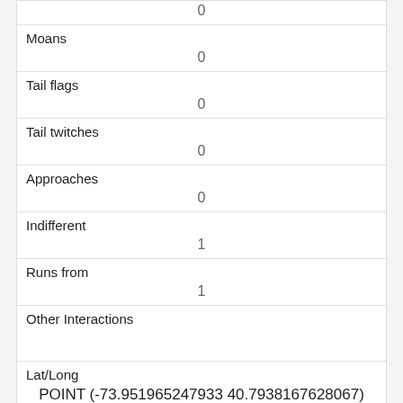|  | 0 |
| Moans | 0 |
| Tail flags | 0 |
| Tail twitches | 0 |
| Approaches | 0 |
| Indifferent | 1 |
| Runs from | 1 |
| Other Interactions |  |
| Lat/Long | POINT (-73.951965247933 40.7938167628067) |
| Link | 1533 |